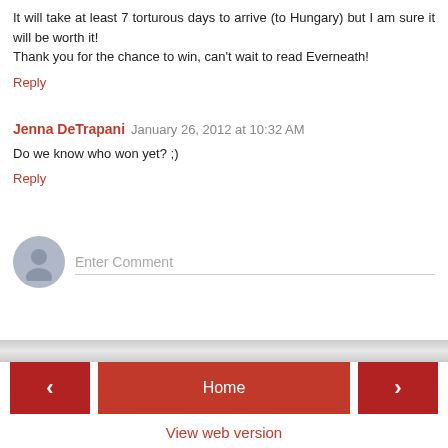It will take at least 7 torturous days to arrive (to Hungary) but I am sure it will be worth it!
Thank you for the chance to win, can't wait to read Everneath!
Reply
Jenna DeTrapani  January 26, 2012 at 10:32 AM
Do we know who won yet? ;)
Reply
Enter Comment
Home
View web version